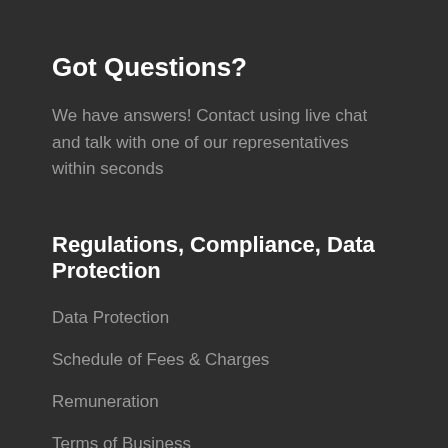Got Questions?
We have answers! Contact using live chat and talk with one of our representatives within seconds
Regulations, Compliance, Data Protection
Data Protection
Schedule of Fees & Charges
Remuneration
Terms of Business